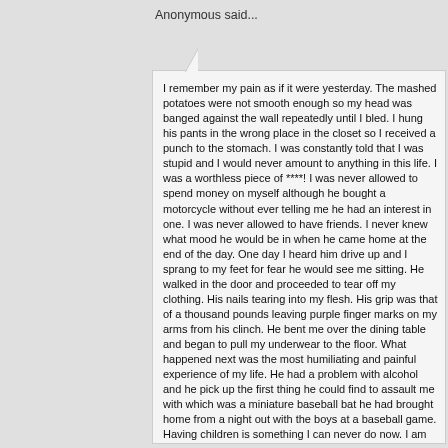Anonymous said...
I remember my pain as if it were yesterday. The mashed potatoes were not smooth enough so my head was banged against the wall repeatedly until I bled. I hung his pants in the wrong place in the closet so I received a punch to the stomach. I was constantly told that I was stupid and I would never amount to anything in this life. I was a worthless piece of ****! I was never allowed to spend money on myself although he bought a motorcycle without ever telling me he had an interest in one. I was never allowed to have friends. I never knew what mood he would be in when he came home at the end of the day. One day I heard him drive up and I sprang to my feet for fear he would see me sitting. He walked in the door and proceeded to tear off my clothing. His nails tearing into my flesh. His grip was that of a thousand pounds leaving purple finger marks on my arms from his clinch. He bent me over the dining table and began to pull my underwear to the floor. What happened next was the most humiliating and painful experience of my life. He had a problem with alcohol and he pick up the first thing he could find to assault me with which was a miniature baseball bat he had brought home from a night out with the boys at a baseball game.
Having children is something I can never do now. I am 29 years old and my face looks like I am 50 from the beatings I took.
Although medical reports and testimony proved the abuse I suffered at his hands, he walked out of court laughing at my humiliation of re-living his abuse. His comment to me as he passed me and the last words he ever spoke to me were, "You stupid bitch" you deserved it all.
There is no justice on this earth for what this man inflicted on me. At least not in a court of law. He had the money and I had nothing but my hands clasped begging for help which was met with men once again ripping me apart. My prayer each night is that the Lord heard my crys and his punishment was justice.